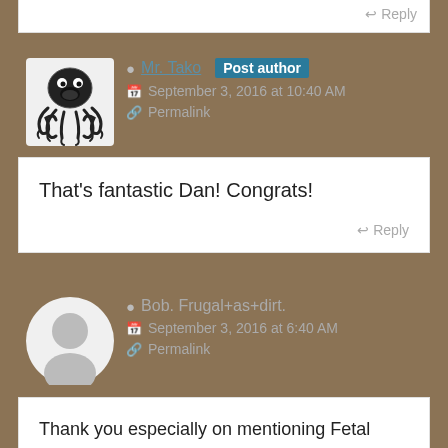Reply
Mr. Tako  Post author
September 3, 2016 at 10:40 AM
Permalink
That's fantastic Dan! Congrats!
Reply
Bob. Frugal+as+dirt.
September 3, 2016 at 6:40 AM
Permalink
Thank you especially on mentioning Fetal Alcohol Syndrome; those children have what I call a lifetime sentence for something they didn't do – and they are doomed to intellectually struggle